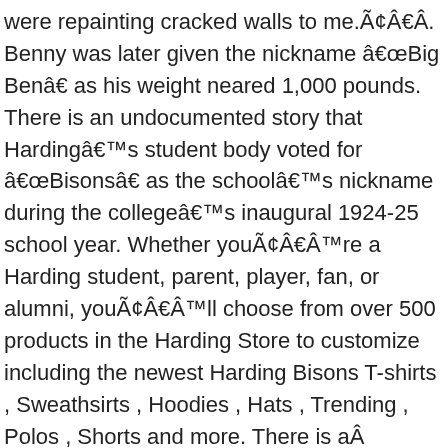were repainting cracked walls to me.Ã¢Â€Â. Benny was later given the nickname â€œBig Benâ€ as his weight neared 1,000 pounds. There is an undocumented story that Hardingâ€™s student body voted for â€œBisonsâ€ as the schoolâ€™s nickname during the collegeâ€™s inaugural 1924-25 school year. Whether youÃ¢Â€Â™re a Harding student, parent, player, fan, or alumni, youÃ¢Â€Â™ll choose from over 500 products in the Harding Store to customize including the newest Harding Bisons T-shirts , Sweathsirts , Hoodies , Hats , Trending , Polos , Shorts and more. There is aÂ tradition of being able to refer to teamsÂ using normal pluralization patterns. Harding University | Harding University was established in 1924 on the idea of integrating faith, learning and living. In former sports information director Stan